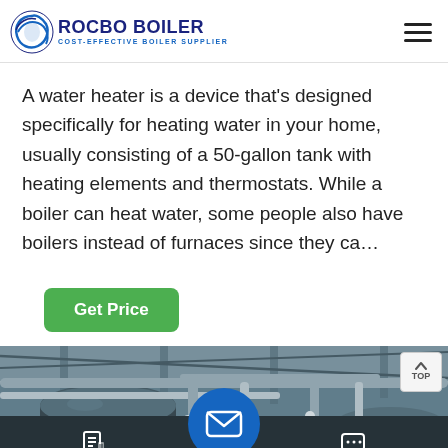ROCBO BOILER - COST-EFFECTIVE BOILER SUPPLIER
A water heater is a device that's designed specifically for heating water in your home, usually consisting of a 50-gallon tank with heating elements and thermostats. While a boiler can heat water, some people also have boilers instead of furnaces since they ca…
Get Price
[Figure (photo): Industrial boiler room interior showing large cylindrical boiler tanks, metallic pipes, red pipes, and structural steel ceiling in a factory setting.]
Send Message | Inquiry Online